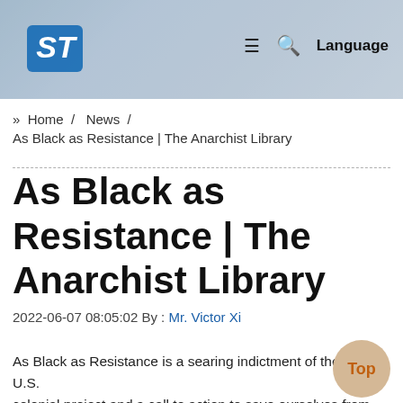[Figure (screenshot): Website header banner with ST Microelectronics logo on the left, blurred background image of person, and navigation icons (hamburger menu, search, Language) on the right.]
» Home / News / As Black as Resistance | The Anarchist Library
As Black as Resistance | The Anarchist Library
2022-06-07 08:05:02 By : Mr. Victor Xi
As Black as Resistance is a searing indictment of the U.S. colonial project and a call to action to save ourselves from the forces of oppression and tyranny. The philosophy of the book might well be